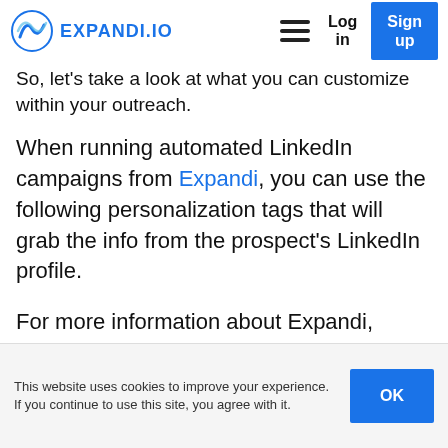Expandi — Log in | Sign up
So, let's take a look at what you can customize within your outreach.
When running automated LinkedIn campaigns from Expandi, you can use the following personalization tags that will grab the info from the prospect's LinkedIn profile.
For more information about Expandi, Please click here!
This website uses cookies to improve your experience. If you continue to use this site, you agree with it.